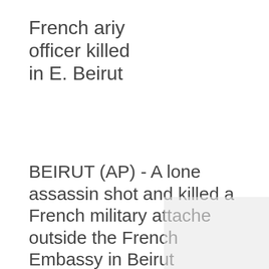French ariy officer killed in E. Beirut
BEIRUT (AP) - A lone assassin shot and killed a French military attache outside the French Embassy in Beirut yesterday morning. It was the latest of a series of terrorist attacks here and in Paris. Anonymous telephone callers in Lebanon and France claimed responsibility for the